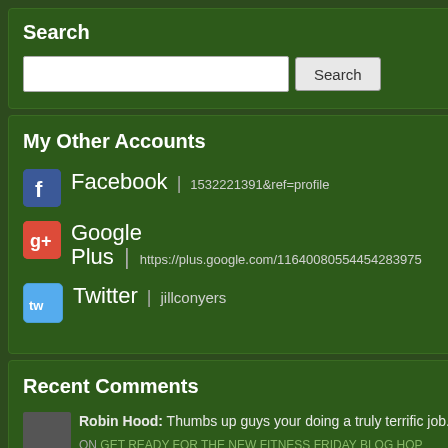Search
Search [input] [Search button]
My Other Accounts
Facebook | 1532221391&ref=profile
Google Plus | https://plus.google.com/11640080554454283975
Twitter | jillconyers
Recent Comments
Robin Hood: Thumbs up guys your doing a truly terrific job.... | more »
ON GET READY FOR THE NEW FITNESS FRIDAY BLOG HOP
[Figure (photo): Photo of a Canon battery charger / camera equipment on a dark background with 'iFi' text visible]
The words on the e eyes. I will cherish
Who makes all th time?
[Figure (photo): Partial photo at bottom right, dark background]